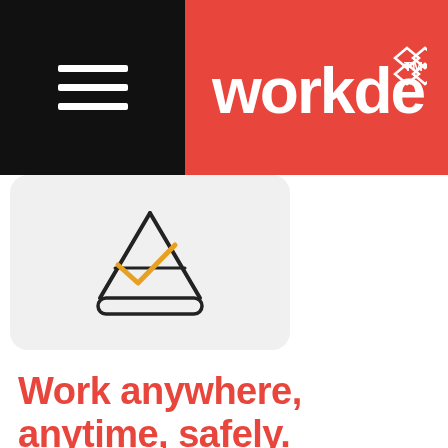workdek™
[Figure (illustration): Line art icon of a scaffold or work platform with a checkmark, inside a rounded light-gray card]
Work anywhere, anytime, safely.
You're on solid ground at any height with Workdek.
3